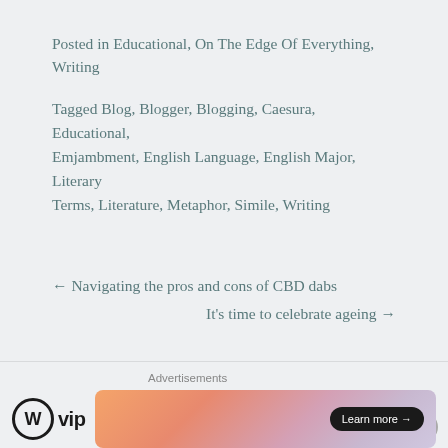Posted in Educational, On The Edge Of Everything, Writing
Tagged Blog, Blogger, Blogging, Caesura, Educational, Emjambment, English Language, English Major, Literary Terms, Literature, Metaphor, Simile, Writing
← Navigating the pros and cons of CBD dabs
It's time to celebrate ageing →
Advertisements
[Figure (logo): WordPress VIP logo and advertisement banner with 'Learn more' button]